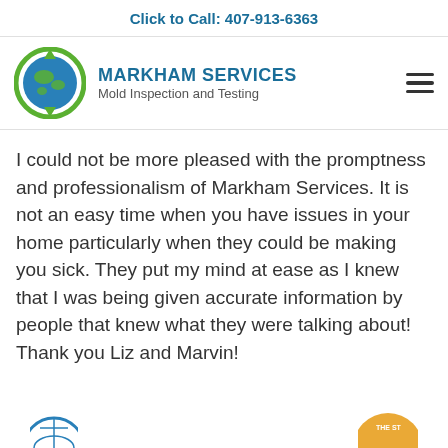Click to Call: 407-913-6363
[Figure (logo): Markham Services logo: globe with green arrows and text 'MARKHAM SERVICES Mold Inspection and Testing']
I could not be more pleased with the promptness and professionalism of Markham Services. It is not an easy time when you have issues in your home particularly when they could be making you sick. They put my mind at ease as I knew that I was being given accurate information by people that knew what they were talking about! Thank you Liz and Marvin!
[Figure (logo): Two partial logos visible at the bottom of the page]